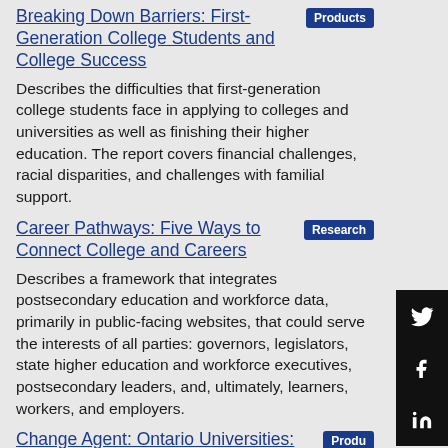Breaking Down Barriers: First-Generation College Students and College Success [Products]
Describes the difficulties that first-generation college students face in applying to colleges and universities as well as finishing their higher education. The report covers financial challenges, racial disparities, and challenges with familial support.
Career Pathways: Five Ways to Connect College and Careers [Research]
Describes a framework that integrates postsecondary education and workforce data, primarily in public-facing websites, that could serve the interests of all parties: governors, legislators, state higher education and workforce executives, postsecondary leaders, and, ultimately, learners, workers, and employers.
Change Agent: Ontario Universities: Transforming Communities, Transforming... [Products]